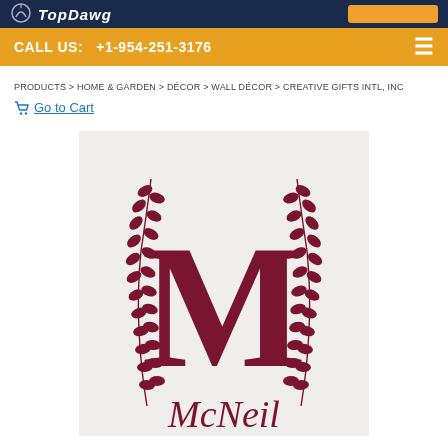TopDawg
CALL US: +1-954-251-3176
PRODUCTS > HOME & GARDEN > DÉCOR > WALL DÉCOR > CREATIVE GIFTS INTL, INC
Go to Cart
[Figure (photo): Product photo of a monogram wall art piece on light gray/white canvas featuring a large dark red letter M flanked by decorative laurel branch designs, with the cursive text McNeil below the monogram.]